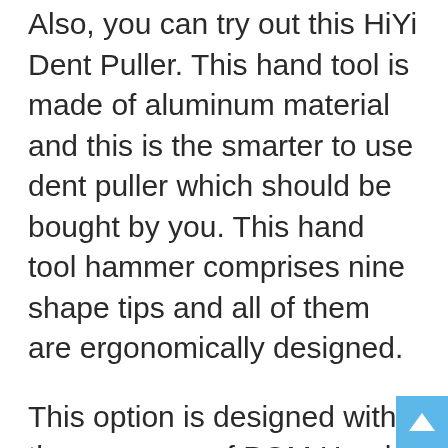Also, you can try out this HiYi Dent Puller. This hand tool is made of aluminum material and this is the smarter to use dent puller which should be bought by you. This hand tool hammer comprises nine shape tips and all of them are ergonomically designed.
This option is designed with the presence of POM Head so that scratching situations on your painted surfaces can be avoided.
It is the time to order this HiYi Dent Puller for yourself. This guarantee is given by this brand that your vehicle or machinery original paint will not get a single scratch and dent will be pulled out